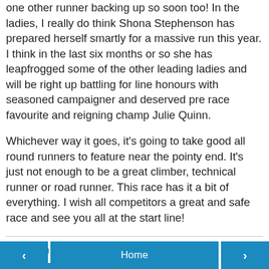one other runner backing up so soon too! In the ladies, I really do think Shona Stephenson has prepared herself smartly for a massive run this year. I think in the last six months or so she has leapfrogged some of the other leading ladies and will be right up battling for line honours with seasoned campaigner and deserved pre race favourite and reigning champ Julie Quinn.
Whichever way it goes, it's going to take good all round runners to feature near the pointy end. It's just not enough to be a great climber, technical runner or road runner. This race has it a bit of everything. I wish all competitors a great and safe race and see you all at the start line!
Brendan Davies at 8:03 PM
Share
‹   Home   ›